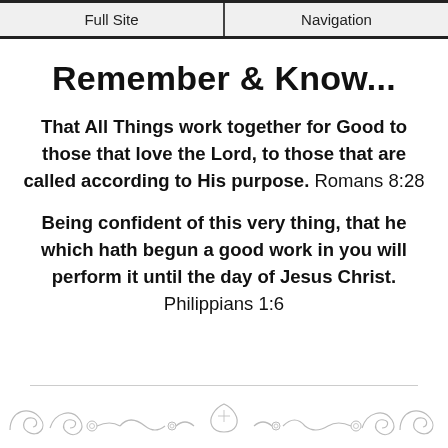Full Site | Navigation
Remember & Know...
That All Things work together for Good to those that love the Lord, to those that are called according to His purpose. Romans 8:28
Being confident of this very thing, that he which hath begun a good work in you will perform it until the day of Jesus Christ. Philippians 1:6
[Figure (illustration): Decorative ornamental divider with scrollwork and flourishes at the bottom of the page]